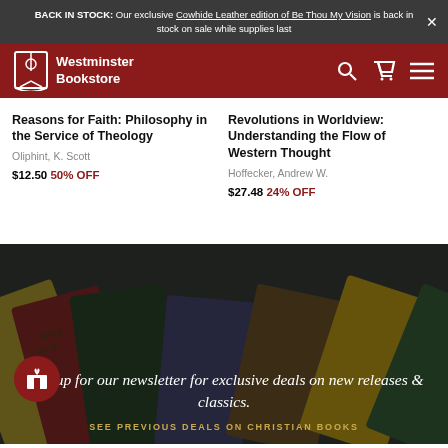BACK IN STOCK: Our exclusive Cowhide Leather edition of Be Thou My Vision is back in stock on sale while supplies last
[Figure (logo): Westminster Bookstore logo with church/bookmark icon on dark red navigation bar with search, cart, and menu icons]
Reasons for Faith: Philosophy in the Service of Theology
Oliphint, K. Scott
$12.50 50% OFF
Revolutions in Worldview: Understanding the Flow of Western Thought
Hoffecker, Andrew W.
$27.48 24% OFF
[Figure (photo): Dark overlay photo of books fanned out including Song of Songs and other titles]
Sign up for our newsletter for exclusive deals on new releases & classics.
SEE PREVIOUS DEALS ON CHRISTIAN BOOKS